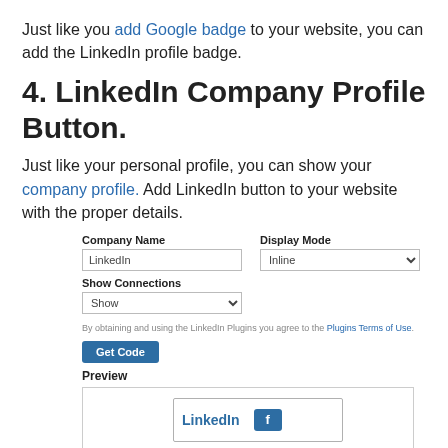Just like you add Google badge to your website, you can add the LinkedIn profile badge.
4. LinkedIn Company Profile Button.
Just like your personal profile, you can show your company profile. Add LinkedIn button to your website with the proper details.
[Figure (screenshot): A web form with fields: Company Name (text input with 'LinkedIn'), Display Mode (dropdown with 'Inline'), Show Connections (dropdown with 'Show'), a terms of use note, a 'Get Code' button, a Preview label, and a preview box showing a LinkedIn follow button.]